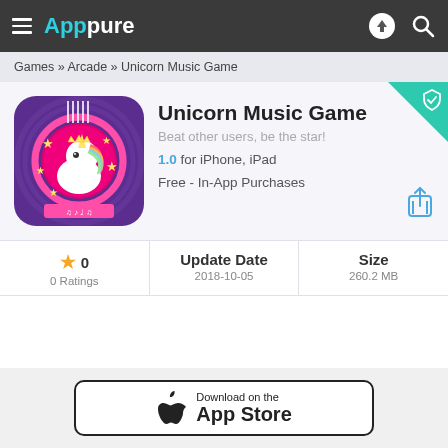≡ Apppure
Games » Arcade » Unicorn Music Game
[Figure (screenshot): Unicorn Music Game app icon — purple background with a unicorn in a circular pink frame with musical notes]
Unicorn Music Game
Beat other users, be the star!
1.0 for iPhone, iPad
Free - In-App Purchases
★ 0
0 Ratings
Update Date
2018-10-05
Size
260.2 MB
[Figure (screenshot): Download on the App Store button]